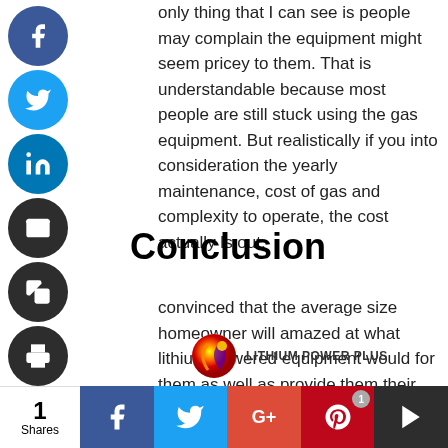only thing that I can see is people may complain the equipment might seem pricey to them. That is understandable because most people are still stuck using the gas equipment. But realistically if you into consideration the yearly maintenance, cost of gas and complexity to operate, the cost actually ls out.
Conclusion
convinced that the average size homeowner will amazed at what lithium powered equipment would for them as well as provide them their contribution eing eco-friendly. I have seen and heard many ples testimonials on how their equipment mpletely held up to their expectations.
[Figure (logo): Lithium Power Plus logo with colorful sphere icon and text LITHIUM POWER PLUS]
1 Shares | Facebook | Twitter | Google+ | Pinterest | Sumo